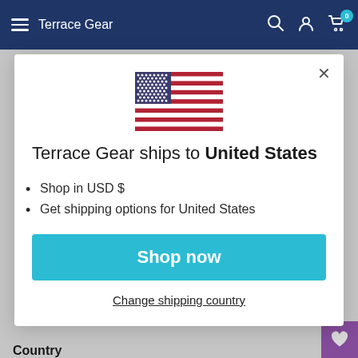Terrace Gear
[Figure (screenshot): US flag icon centered at top of modal]
Terrace Gear ships to United States
Shop in USD $
Get shipping options for United States
Shop now
Change shipping country
Country